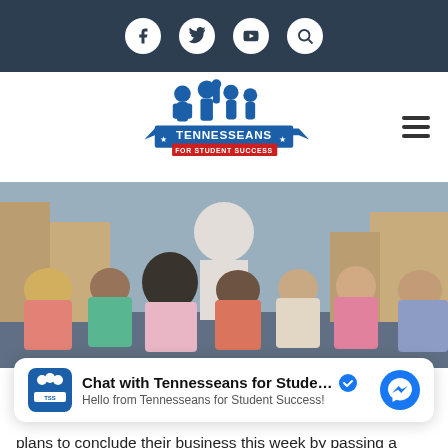Social media icons: Facebook, Twitter, YouTube, Search
[Figure (logo): Tennesseans for Student Success logo with silhouettes of children and blue banner]
[Figure (photo): Children sitting on floor facing a teacher in a classroom setting, viewed from behind]
Chat with Tennesseans for Stude... ✓
Hello from Tennesseans for Student Success!
plans to conclude their business this week by passing a revised state budget and voting on remaining critical